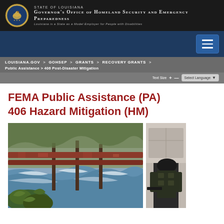STATE OF LOUISIANA
GOVERNOR'S OFFICE OF HOMELAND SECURITY AND EMERGENCY PREPAREDNESS
Louisiana is a State as a Model Employer for People with Disabilities
LOUISIANA.GOV > GOHSEP > GRANTS > RECOVERY GRANTS > Public Assistance > 406 Post-Disaster Mitigation
Text Size + — Select Language ▼
FEMA Public Assistance (PA) 406 Hazard Mitigation (HM)
[Figure (photo): Photo of flooding water rushing against a damaged metal guardrail with reddish rust, with vegetation in foreground]
[Figure (photo): Partial photo on right side showing a person in tactical/military gear]